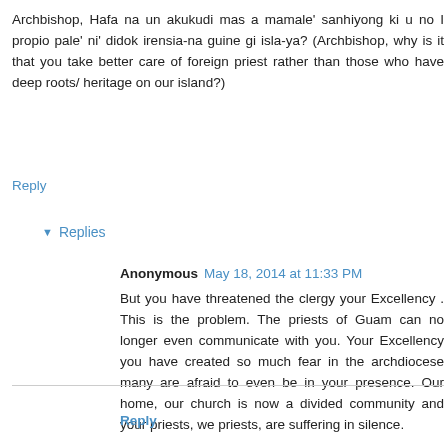Archbishop, Hafa na un akukudi mas a mamale' sanhiyong ki u no I propio pale' ni' didok irensia-na guine gi isla-ya? (Archbishop, why is it that you take better care of foreign priest rather than those who have deep roots/ heritage on our island?)
Reply
Replies
Anonymous May 18, 2014 at 11:33 PM
But you have threatened the clergy your Excellency . This is the problem. The priests of Guam can no longer even communicate with you. Your Excellency you have created so much fear in the archdiocese many are afraid to even be in your presence. Our home, our church is now a divided community and your priests, we priests, are suffering in silence.
Reply